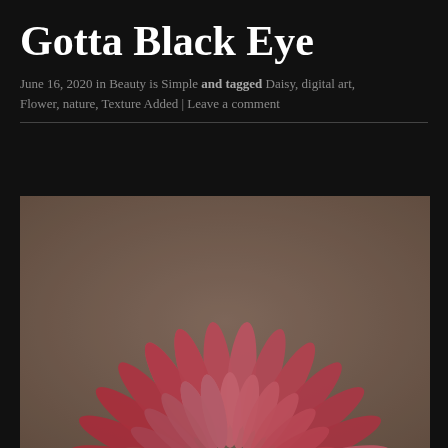Gotta Black Eye
June 16, 2020 in Beauty is Simple and tagged Daisy, digital art, Flower, nature, Texture Added | Leave a comment
[Figure (photo): Close-up photograph of a pink/coral gerbera daisy flower with many petals radiating from a dark center, shot against a brownish-grey textured background. The flower fills most of the frame with petals visible from top to bottom-right.]